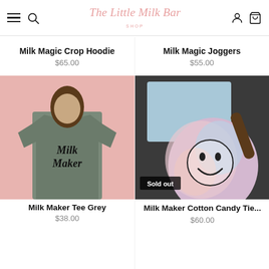The Little Milk Bar
Milk Magic Crop Hoodie
$65.00
Milk Magic Joggers
$55.00
[Figure (photo): Woman wearing a grey Milk Maker tee shirt with jeans, standing in front of a pink background]
Milk Maker Tee Grey
$38.00
[Figure (photo): Woman in a car wearing a pastel tie-dye hoodie with a smiley face and text 'Use Your Voice' on the back. A Sold out badge is shown.]
Milk Maker Cotton Candy Tie...
$60.00